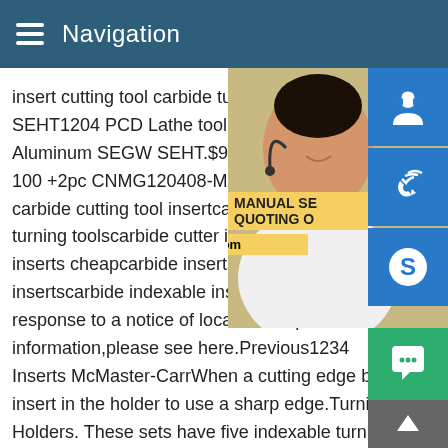Navigation
insert cutting tool carbide turning blade.Ite SEHT1204 PCD Lathe tool carbide insert Aluminum SEGW SEHT.$9.00.Free shippi 100 +2pc CNMG120408-MA US735 lathe carbide cutting tool insertcarbide cutting in turning toolscarbide cutter insertscarbide i inserts cheapcarbide inserts for woodroun insertscarbide indexable insertSome resu response to a notice of local law requirem information,please see here.Previous1234 Inserts McMaster-CarrWhen a cutting edge becomes dull,rotate the insert in the holder to use a sharp edge.Turning Carbide Insert Holders. These sets have five indexable turning tools with carb inserts and a wood storage stand.When one edge of a tool's in dulls,rotate it to use a sharp edge.
[Figure (photo): Photo of a woman wearing a headset, customer service representative, overlaid with blue icon buttons for support/chat/skype and a yellow highlighted bar showing MANUAL SE, QUOTING O, and Email: bsteel1@163.com]